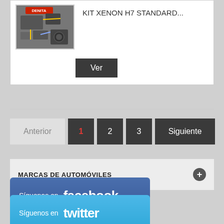[Figure (photo): Product photo of a KIT XENON H7 car lighting kit with wires and components visible]
KIT XENON H7 STANDARD...
Ver
Anterior  1  2  3  Siguiente
MARCAS DE AUTOMÓVILES
Síguenos en facebook
Síguenos en twitter